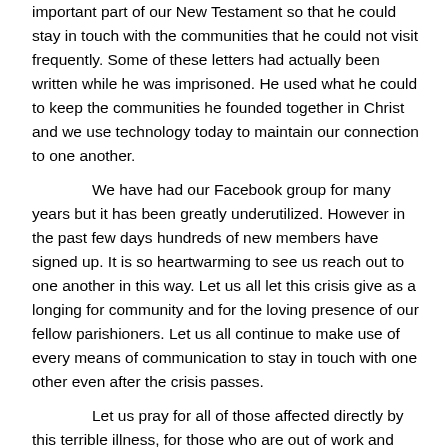important part of our New Testament so that he could stay in touch with the communities that he could not visit frequently. Some of these letters had actually been written while he was imprisoned. He used what he could to keep the communities he founded together in Christ and we use technology today to maintain our connection to one another.
We have had our Facebook group for many years but it has been greatly underutilized. However in the past few days hundreds of new members have signed up. It is so heartwarming to see us reach out to one another in this way. Let us all let this crisis give as a longing for community and for the loving presence of our fellow parishioners. Let us all continue to make use of every means of communication to stay in touch with one other even after the crisis passes.
Let us pray for all of those affected directly by this terrible illness, for those who are out of work and struggling because of it, and those who are even more isolated than ever. May we seek every opportunity to spread the Gospel message and God's love in whatever ways we can.
Father Roderick Vonhögen on YouTube